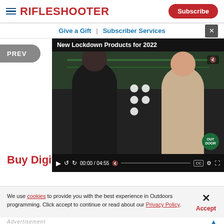RIFLESHOOTER — Subscribe
Give a Gift  |  Subscriber Services
[Figure (screenshot): Video player showing 'New Lockdown Products for 2022' with two people in front of a gun rack, video time 00:00 / 04:55]
Buy Digital S
We use cookies to provide you with the best experience in Outdoors programming. Click accept to continue or read about our Privacy Policy.
Advertisement
[Figure (photo): Ad banner: VERSATILE NEW GUN VISE IS A MUST FOR EVERY HUNTER & SHOOTER — READ REVIEW]